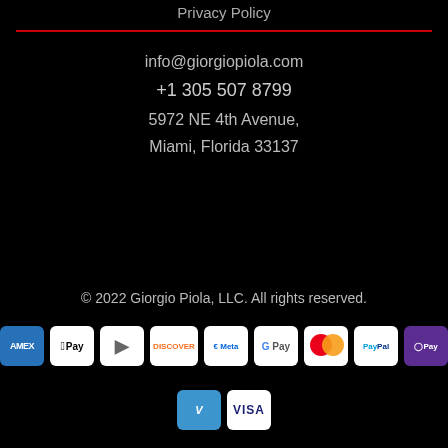Privacy Policy
info@giorgiopiola.com
+1 305 507 8799
5972 NE 4th Avenue,
Miami, Florida 33137
© 2022 Giorgio Piola, LLC. All rights reserved.
[Figure (other): Payment method icons: AMEX, Apple Pay, Diners Club, Discover, Meta, Google Pay, Mastercard, PayPal, OPay, Venmo, Visa]